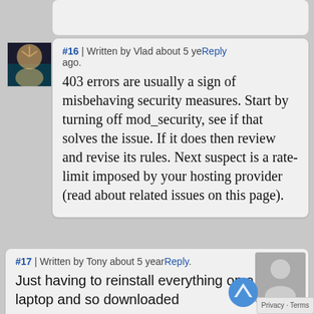#16 | Written by Vlad about 5 years ago. Reply
403 errors are usually a sign of misbehaving security measures. Start by turning off mod_security, see if that solves the issue. If it does then review and revise its rules. Next suspect is a rate-limit imposed by your hosting provider (read about related issues on this page).
#17 | Written by Tony about 5 years ago. Reply
Just having to reinstall everything on a new laptop and so downloaded